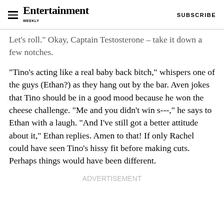Entertainment Weekly  SUBSCRIBE
Let's roll." Okay, Captain Testosterone – take it down a few notches.
"Tino's acting like a real baby back bitch," whispers one of the guys (Ethan?) as they hang out by the bar. Aven jokes that Tino should be in a good mood because he won the cheese challenge. "Me and you didn't win s---," he says to Ethan with a laugh. "And I've still got a better attitude about it," Ethan replies. Amen to that! If only Rachel could have seen Tino's hissy fit before making cuts. Perhaps things would have been different.